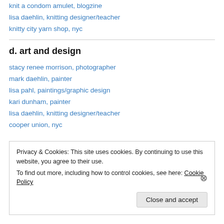knit a condom amulet, blogzine
lisa daehlin, knitting designer/teacher
knitty city yarn shop, nyc
d. art and design
stacy renee morrison, photographer
mark daehlin, painter
lisa pahl, paintings/graphic design
kari dunham, painter
lisa daehlin, knitting designer/teacher
cooper union, nyc
Privacy & Cookies: This site uses cookies. By continuing to use this website, you agree to their use. To find out more, including how to control cookies, see here: Cookie Policy
Close and accept